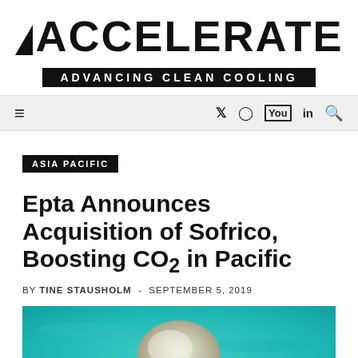ACCELERATE — ADVANCING CLEAN COOLING
ASIA PACIFIC
Epta Announces Acquisition of Sofrico, Boosting CO2 in Pacific
BY TINE STAUSHOLM - SEPTEMBER 5, 2019
[Figure (photo): Aerial view of a jellyfish or coral formation in turquoise-blue ocean water]